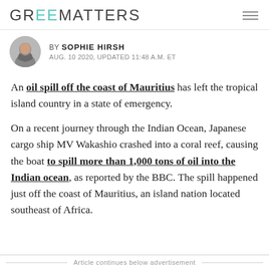GREENMATTERS
BY SOPHIE HIRSH
AUG. 10 2020, UPDATED 11:48 A.M. ET
An oil spill off the coast of Mauritius has left the tropical island country in a state of emergency.
On a recent journey through the Indian Ocean, Japanese cargo ship MV Wakashio crashed into a coral reef, causing the boat to spill more than 1,000 tons of oil into the Indian ocean, as reported by the BBC. The spill happened just off the coast of Mauritius, an island nation located southeast of Africa.
Article continues below advertisement